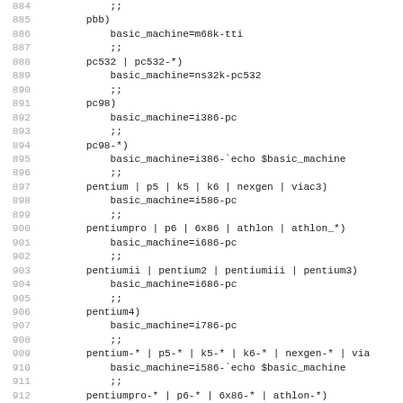Code listing lines 884-915, shell script case statement for machine type detection
884  ;;
885  pbb)
886      basic_machine=m68k-tti
887      ;;
888  pc532 | pc532-*)
889      basic_machine=ns32k-pc532
890      ;;
891  pc98)
892      basic_machine=i386-pc
893      ;;
894  pc98-*)
895      basic_machine=i386-`echo $basic_machine
896      ;;
897  pentium | p5 | k5 | k6 | nexgen | viac3)
898      basic_machine=i586-pc
899      ;;
900  pentiumpro | p6 | 6x86 | athlon | athlon_*)
901      basic_machine=i686-pc
902      ;;
903  pentiumii | pentium2 | pentiumiii | pentium3)
904      basic_machine=i686-pc
905      ;;
906  pentium4)
907      basic_machine=i786-pc
908      ;;
909  pentium-* | p5-* | k5-* | k6-* | nexgen-* | via
910      basic_machine=i586-`echo $basic_machine
911      ;;
912  pentiumpro-* | p6-* | 6x86-* | athlon-*)
913      basic_machine=i686-`echo $basic_machine
914      ;;
915  pentiumii-* | pentium2-* | pentiumiii-* | penti